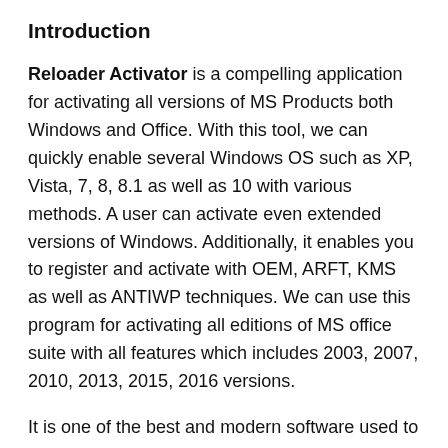Introduction
Reloader Activator is a compelling application for activating all versions of MS Products both Windows and Office. With this tool, we can quickly enable several Windows OS such as XP, Vista, 7, 8, 8.1 as well as 10 with various methods. A user can activate even extended versions of Windows. Additionally, it enables you to register and activate with OEM, ARFT, KMS as well as ANTIWP techniques. We can use this program for activating all editions of MS office suite with all features which includes 2003, 2007, 2010, 2013, 2015, 2016 versions.
It is one of the best and modern software used to activate MS Windows and Office products. If we are a user of MMS Windows or Office, we can